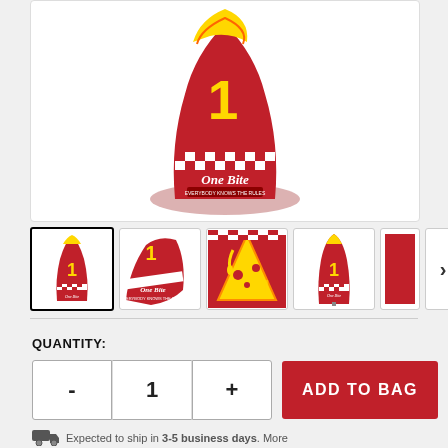[Figure (photo): Red golf club headcover with 'One Bite Everybody Knows The Rules' branding, featuring a pizza slice and checkered pattern design, displayed against white background]
[Figure (photo): Thumbnail 1: Full view of red One Bite golf headcover (selected)]
[Figure (photo): Thumbnail 2: Side view showing One Bite text and checkered stripe]
[Figure (photo): Thumbnail 3: Close-up of pizza slice graphic on red headcover]
[Figure (photo): Thumbnail 4: Alternate angle of red headcover on golf club]
[Figure (photo): Thumbnail 5: Partially visible additional view]
QUANTITY:
- 1 +
ADD TO BAG
Expected to ship in 3-5 business days. More